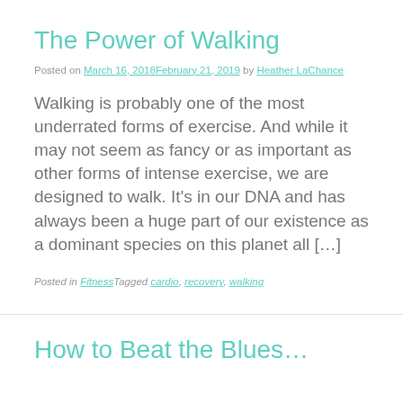The Power of Walking
Posted on March 16, 2018February 21, 2019 by Heather LaChance
Walking is probably one of the most underrated forms of exercise. And while it may not seem as fancy or as important as other forms of intense exercise, we are designed to walk. It's in our DNA and has always been a huge part of our existence as a dominant species on this planet all […]
Posted in FitnessTagged cardio, recovery, walking
How to Beat the Blues…